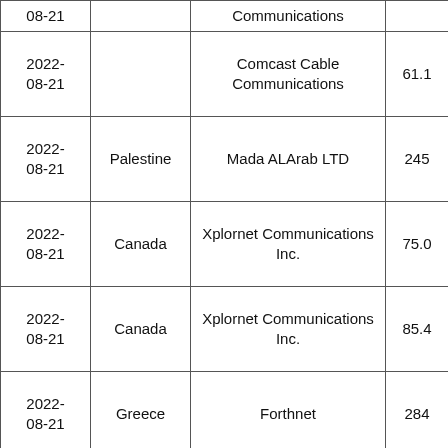| Date | Country | Provider | Value |
| --- | --- | --- | --- |
| 2022-08-21 |  | Communications |  |
| 2022-08-21 |  | Comcast Cable Communications | 61.1 |
| 2022-08-21 | Palestine | Mada ALArab LTD | 245 |
| 2022-08-21 | Canada | Xplornet Communications Inc. | 75.0 |
| 2022-08-21 | Canada | Xplornet Communications Inc. | 85.4 |
| 2022-08-21 | Greece | Forthnet | 284 |
| 2022-08-21 |  | T | 232 |
|  |  |  |  |